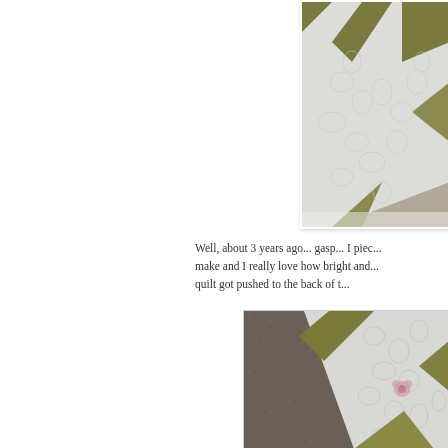[Figure (photo): Close-up photo of a quilt with white swirl quilting pattern and olive/gold star points, shown at an angle on a grey surface. Partial/cropped view showing right portion.]
Well, about 3 years ago... gasp... I piec... make and I really love how bright and... quilt got pushed to the back of t...
[Figure (photo): Close-up photo of a quilt showing white swirl quilting pattern with olive/gold diamond/star shapes and a small floral element, laid on a dark grey textured surface.]